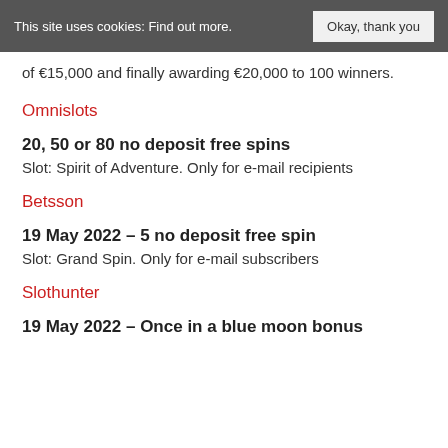This site uses cookies: Find out more. Okay, thank you
of €15,000 and finally awarding €20,000 to 100 winners.
Omnislots
20, 50 or 80 no deposit free spins
Slot: Spirit of Adventure. Only for e-mail recipients
Betsson
19 May 2022 – 5 no deposit free spin
Slot: Grand Spin. Only for e-mail subscribers
Slothunter
19 May 2022 – Once in a blue moon bonus